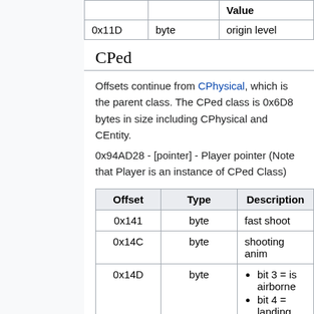|  |  | Value |
| --- | --- | --- |
| 0x11D | byte | origin level |
CPed
Offsets continue from CPhysical, which is the parent class. The CPed class is 0x6D8 bytes in size including CPhysical and CEntity.
0x94AD28 - [pointer] - Player pointer (Note that Player is an instance of CPed Class)
| Offset | Type | Description |
| --- | --- | --- |
| 0x141 | byte | fast shoot |
| 0x14C | byte | shooting anim |
| 0x14D | byte | bit 3 = is airborne
bit 4 = landing jump |